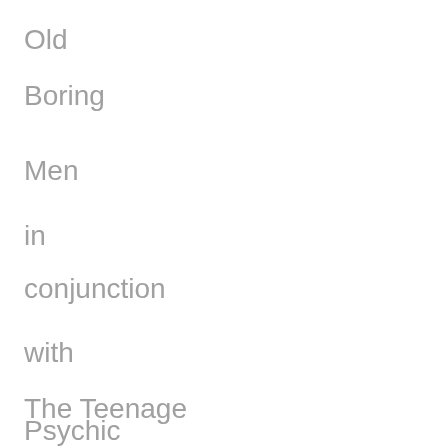Old
Boring
Men
in
conjunction
with
The Teenage
Psychic